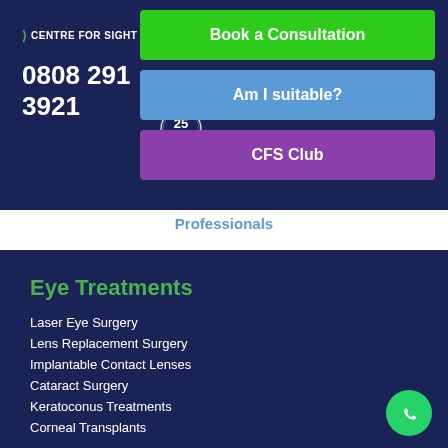[Figure (logo): Centre for Sight logo with green chevron and white text]
0808 291 3921
[Figure (other): 25 years anniversary badge/seal]
Book a Consultation
Am I suitable?
CFS Club
Professionals
Eye Treatments
Laser Eye Surgery
Lens Replacement Surgery
Implantable Contact Lenses
Cataract Surgery
Keratoconus Treatments
Corneal Transplants